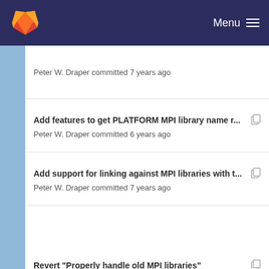Menu
Peter W. Draper committed 7 years ago
Add features to get PLATFORM MPI library name r... Peter W. Draper committed 6 years ago
Add support for linking against MPI libraries with t... Peter W. Draper committed 7 years ago
Revert "Properly handle old MPI libraries" Matthieu Schaller committed 6 years ago
Add support for linking against MPI libraries with t...